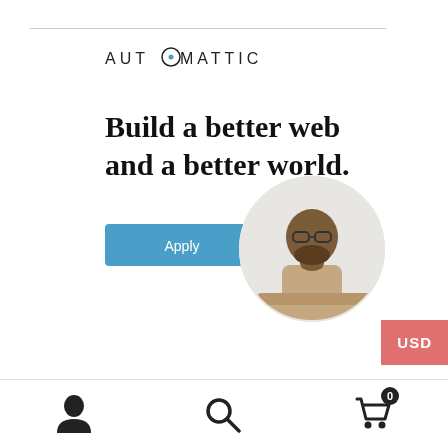[Figure (logo): Automattic logo with stylized O]
Build a better web and a better world.
[Figure (photo): Circular cropped photo of a man thinking, resting chin on hand at a desk]
Apply
USD
REPORT THIS AD
Share this:
[Figure (infographic): Social share buttons: Twitter, Facebook, Pinterest (badge 3), WhatsApp, Email, Print]
Like this:
User icon, Search icon, Cart icon with badge 0